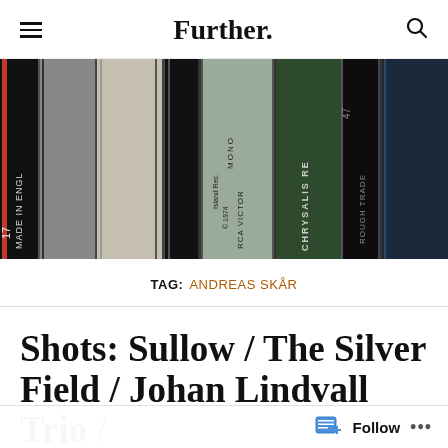Further.
[Figure (photo): Close-up photo of vinyl record spines standing upright, showing labels including RCA Victor, Chrysalis Records, and others with text 'Made in England', '1974', 'Mono', 'Rough Trade']
TAG: ANDREAS SKÅR
Shots: Sullow / The Silver Field / Johan Lindvall Trio / Bugge Wesseltoft / Ebanon /